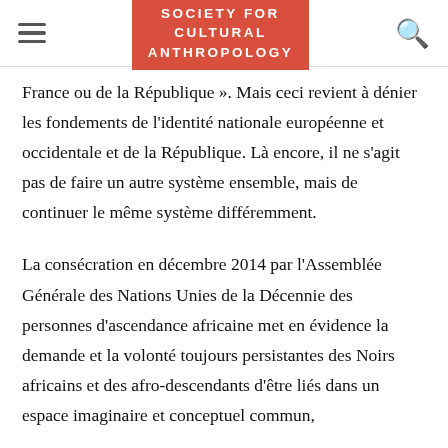SOCIETY FOR CULTURAL ANTHROPOLOGY
France ou de la République ». Mais ceci revient à dénier les fondements de l'identité nationale européenne et occidentale et de la République. Là encore, il ne s'agit pas de faire un autre système ensemble, mais de continuer le même système différemment.
La consécration en décembre 2014 par l'Assemblée Générale des Nations Unies de la Décennie des personnes d'ascendance africaine met en évidence la demande et la volonté toujours persistantes des Noirs africains et des afro-descendants d'être liés dans un espace imaginaire et conceptuel commun,